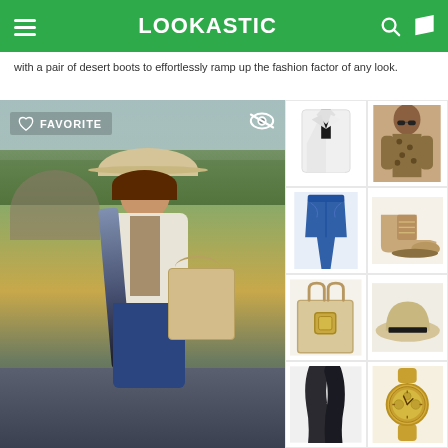LOOKASTIC
with a pair of desert boots to effortlessly ramp up the fashion factor of any look.
[Figure (photo): Main fashion photo of a young woman wearing a beige floppy hat, leopard print top, dark scarf, white cardigan, jeans, and carrying a beige studded handbag, outdoors in a park setting. Has a FAVORITE label overlay.]
[Figure (photo): White blazer jacket product photo]
[Figure (photo): Leopard print blouse with model wearing sunglasses]
[Figure (photo): Blue skinny jeans product photo]
[Figure (photo): Beige tan desert boots / chukka boots product photo]
[Figure (photo): Beige structured tote handbag with gold hardware]
[Figure (photo): Beige wide brim hat product photo]
[Figure (photo): Dark grey/black scarf product photo]
[Figure (photo): Gold chronograph watch product photo]